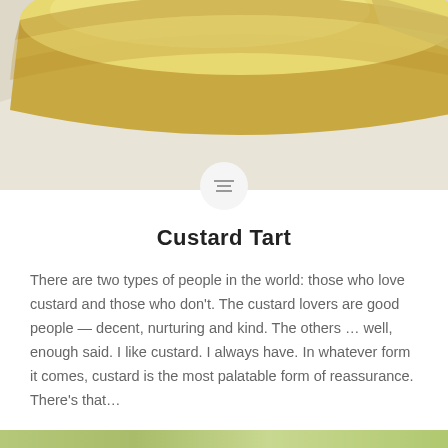[Figure (photo): Close-up photograph of a custard tart on a white plate, showing the golden pastry crust and pale yellow custard filling from above and slightly to the side.]
Custard Tart
There are two types of people in the world: those who love custard and those who don’t. The custard lovers are good people — decent, nurturing and kind. The others … well, enough said. I like custard. I always have. In whatever form it comes, custard is the most palatable form of reassurance. There’s that…
READ MORE